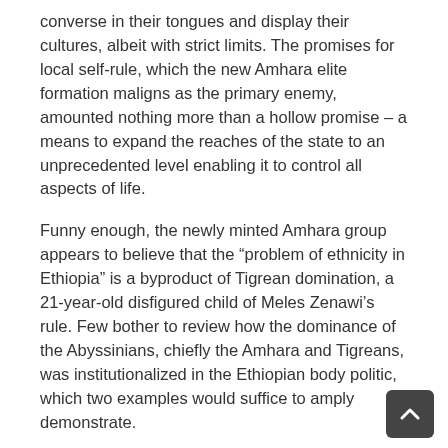converse in their tongues and display their cultures, albeit with strict limits. The promises for local self-rule, which the new Amhara elite formation maligns as the primary enemy, amounted nothing more than a hollow promise – a means to expand the reaches of the state to an unprecedented level enabling it to control all aspects of life.
Funny enough, the newly minted Amhara group appears to believe that the "problem of ethnicity in Ethiopia" is a byproduct of Tigrean domination, a 21-year-old disfigured child of Meles Zenawi's rule. Few bother to review how the dominance of the Abyssinians, chiefly the Amhara and Tigreans, was institutionalized in the Ethiopian body politic, which two examples would suffice to amply demonstrate.
During the imperial regime four Oromo provinces, Arsi, Bale, Iluu-Abba Bora, and Wallaga had fewer representatives in the parliament than Gondar. In fact, the tiny district of Menz had as many seats as the provinces of Arsi and Ilu Abba Bora combined. The message was unmistakable: A Gondare and a Menze were more